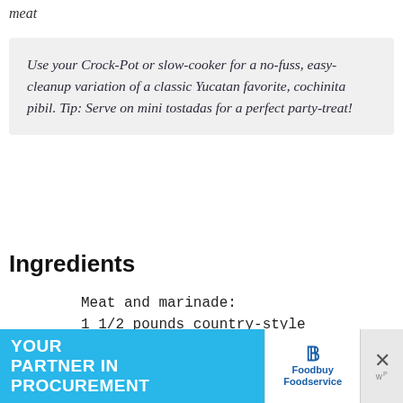meat
Use your Crock-Pot or slow-cooker for a no-fuss, easy-cleanup variation of a classic Yucatan favorite, cochinita pibil. Tip: Serve on mini tostadas for a perfect party-treat!
Ingredients
Meat and marinade:
1 1/2 pounds country-style boneless pork ribs
[Figure (other): Advertisement banner for Foodbuy Foodservice with text YOUR PARTNER IN PROCUREMENT on a blue background with puzzle piece imagery]